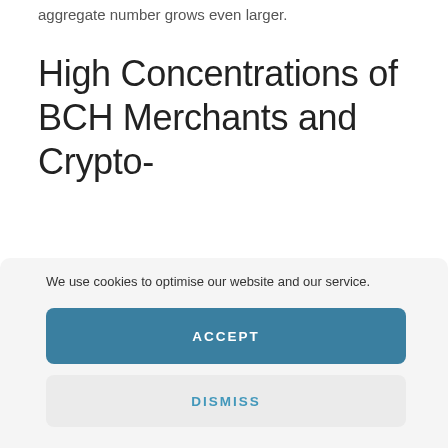aggregate number grows even larger.
High Concentrations of BCH Merchants and Crypto-
We use cookies to optimise our website and our service.
ACCEPT
DISMISS
PREFERENCES
SAVE PREFERENCES
Cookie Policy   Privacy Policy